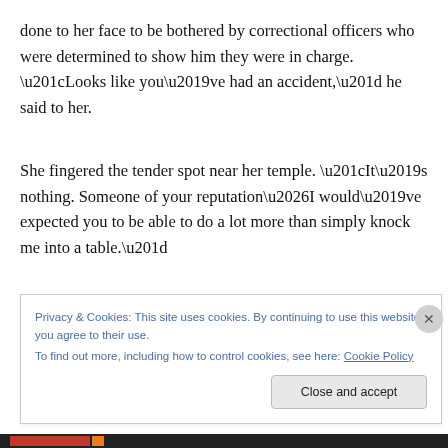done to her face to be bothered by correctional officers who were determined to show him they were in charge. “Looks like you’ve had an accident,” he said to her.
She fingered the tender spot near her temple. “It’s nothing. Someone of your reputation…I would’ve expected you to be able to do a lot more than simply knock me into a table.”
Privacy & Cookies: This site uses cookies. By continuing to use this website, you agree to their use.
To find out more, including how to control cookies, see here: Cookie Policy